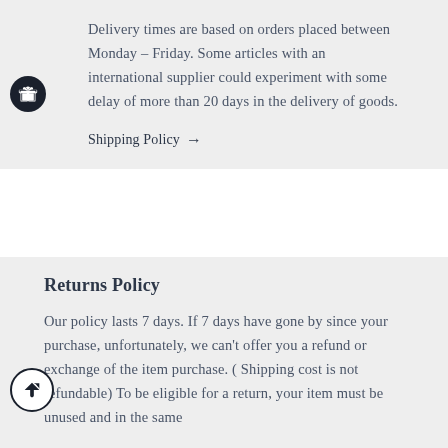Delivery times are based on orders placed between Monday – Friday. Some articles with an international supplier could experiment with some delay of more than 20 days in the delivery of goods.
Shipping Policy →
Returns Policy
Our policy lasts 7 days. If 7 days have gone by since your purchase, unfortunately, we can't offer you a refund or exchange of the item purchase. ( Shipping cost is not refundable) To be eligible for a return, your item must be unused and in the same condition as you received it. It must also be in the